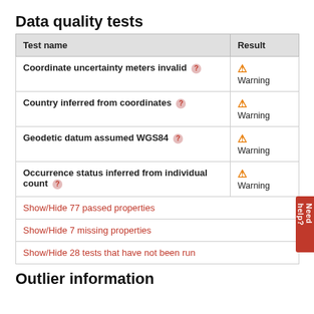Data quality tests
| Test name | Result |
| --- | --- |
| Coordinate uncertainty meters invalid ? | ⚠ Warning |
| Country inferred from coordinates ? | ⚠ Warning |
| Geodetic datum assumed WGS84 ? | ⚠ Warning |
| Occurrence status inferred from individual count ? | ⚠ Warning |
| Show/Hide 77 passed properties |  |
| Show/Hide 7 missing properties |  |
| Show/Hide 28 tests that have not been run |  |
Outlier information